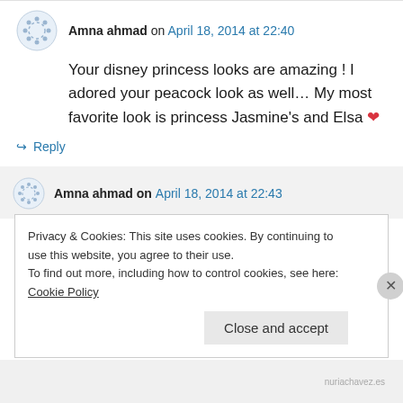Amna ahmad on April 18, 2014 at 22:40
Your disney princess looks are amazing ! I adored your peacock look as well... My most favorite look is princess Jasmine's and Elsa ❤
↪ Reply
Amna ahmad on April 18, 2014 at 22:43
Privacy & Cookies: This site uses cookies. By continuing to use this website, you agree to their use. To find out more, including how to control cookies, see here: Cookie Policy
Close and accept